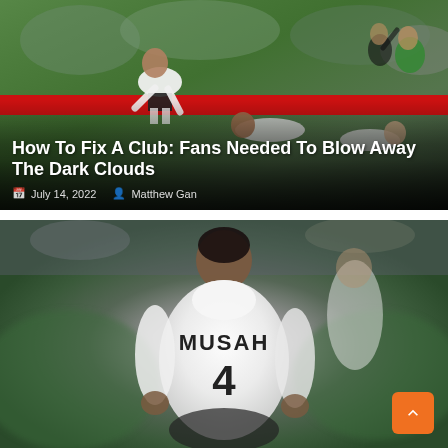[Figure (photo): Football scene with players on the pitch, one in white shirt bent over distressed, others on ground, referee in background, red advertising board visible. Text overlay with article title and metadata.]
How To Fix A Club: Fans Needed To Blow Away The Dark Clouds
July 14, 2022   Matthew Gan
[Figure (photo): Football player wearing a white shirt with 'MUSAH' and number 4 on the back, head bowed, standing on a football pitch with blurred green background.]